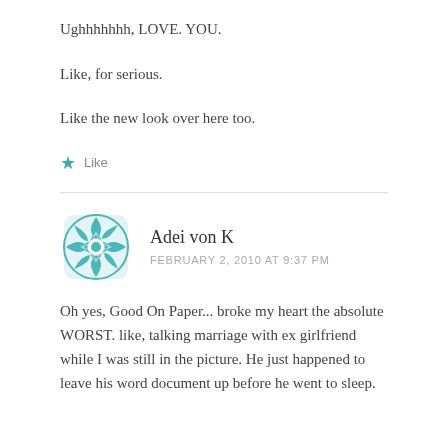Ughhhhhhh, LOVE. YOU.
Like, for serious.
Like the new look over here too.
★ Like
Adei von K
FEBRUARY 2, 2010 AT 9:37 PM
Oh yes, Good On Paper... broke my heart the absolute WORST. like, talking marriage with ex girlfriend while I was still in the picture. He just happened to leave his word document up before he went to sleep.